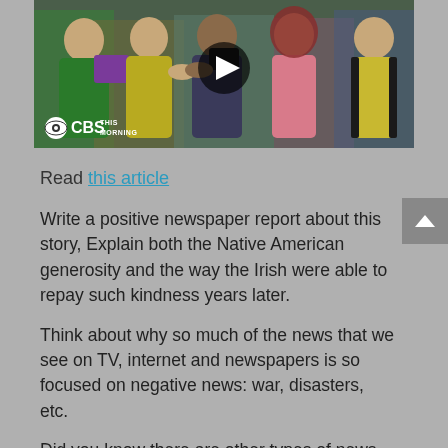[Figure (screenshot): CBS This Morning video thumbnail showing illustrated figures in traditional clothing exchanging items, with a circular play button overlay and CBS This Morning logo in the lower left]
Read this article
Write a positive newspaper report about this story, Explain both the Native American generosity and the way the Irish were able to repay such kindness years later.
Think about why so much of the news that we see on TV, internet and newspapers is so focused on negative news: war, disasters, etc.
Did you know there are other types of news...